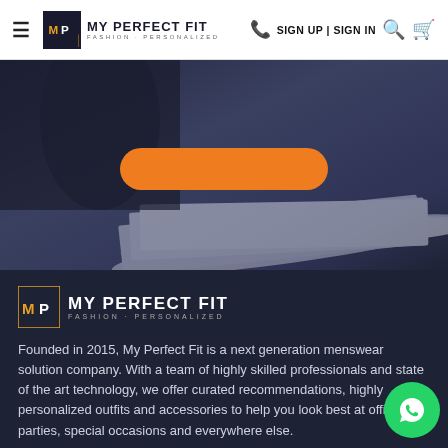MY PERFECT FIT — FASHION PERSONALIZED | SIGN UP | SIGN IN
[Figure (screenshot): Hero banner image showing a blurred dark background with books/notebooks and an orange pill-shaped button overlaid]
[Figure (logo): MY PERFECT FIT logo with MP monogram icon, white text on dark background]
Founded in 2015, My Perfect Fit is a next generation menswear solution company. With a team of highly skilled professionals and state of the art technology, we offer curated recommendations, highly personalized outfits and accessories to help you look best at office, parties, special occasions and everywhere else.